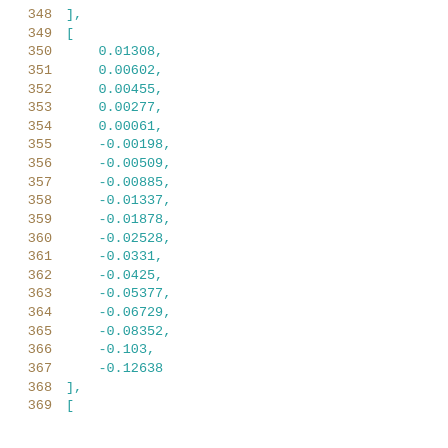348    ],
349    [
350        0.01308,
351        0.00602,
352        0.00455,
353        0.00277,
354        0.00061,
355        -0.00198,
356        -0.00509,
357        -0.00885,
358        -0.01337,
359        -0.01878,
360        -0.02528,
361        -0.0331,
362        -0.0425,
363        -0.05377,
364        -0.06729,
365        -0.08352,
366        -0.103,
367        -0.12638
368    ],
369    [